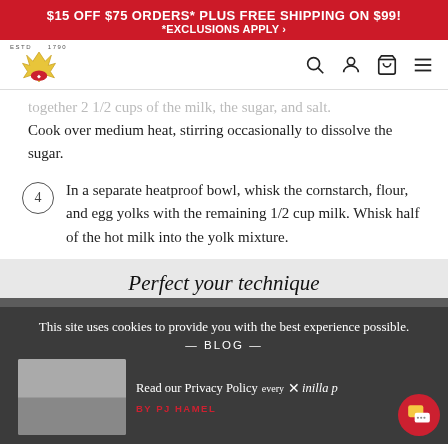$15 OFF $75 ORDERS* PLUS FREE SHIPPING ON $99! *EXCLUSIONS APPLY ›
[Figure (logo): King Arthur Baking Company logo with wheat crown emblem, ESTD 1790]
together 2 1/2 cups of the milk, the sugar, and salt. Cook over medium heat, stirring occasionally to dissolve the sugar.
4 In a separate heatproof bowl, whisk the cornstarch, flour, and egg yolks with the remaining 1/2 cup milk. Whisk half of the hot milk into the yolk mixture.
Perfect your technique
This site uses cookies to provide you with the best experience possible.
— BLOG —
Read our Privacy Policy
every Vanilla p
BY PJ HAMEL